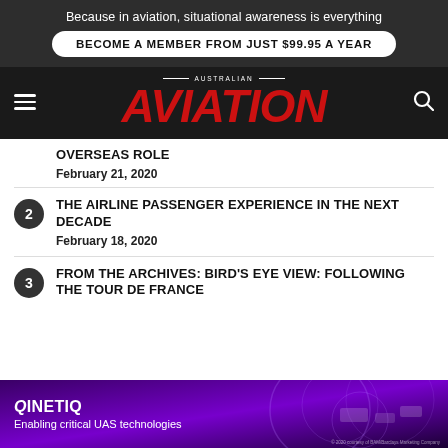Because in aviation, situational awareness is everything
BECOME A MEMBER FROM JUST $99.95 A YEAR
[Figure (logo): Australian Aviation magazine logo with red italic AVIATION text]
OVERSEAS ROLE
February 21, 2020
THE AIRLINE PASSENGER EXPERIENCE IN THE NEXT DECADE
February 18, 2020
FROM THE ARCHIVES: BIRD'S EYE VIEW: FOLLOWING THE TOUR DE FRANCE
[Figure (infographic): QinetiQ advertisement banner - Enabling critical UAS technologies, with drone imagery on purple background]